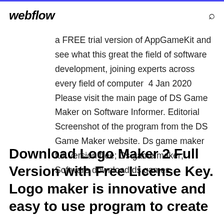webflow
a FREE trial version of AppGameKit and see what this great the field of software development, joining experts across every field of computer  4 Jan 2020 Please visit the main page of DS Game Maker on Software Informer. Editorial Screenshot of the program from the DS Game Maker website. Ds game maker full version free; Ds game maker; Software download ds games
Download Logo Maker 2 Full Version with Free License Key. Logo maker is innovative and easy to use program to create